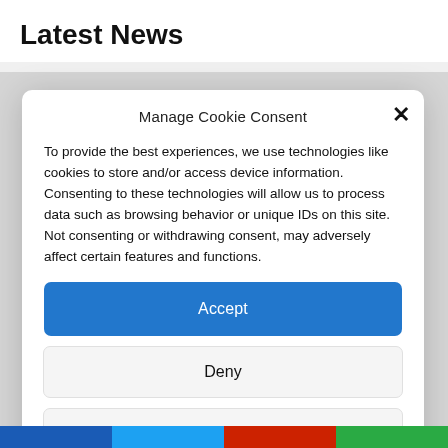Latest News
Manage Cookie Consent
To provide the best experiences, we use technologies like cookies to store and/or access device information. Consenting to these technologies will allow us to process data such as browsing behavior or unique IDs on this site. Not consenting or withdrawing consent, may adversely affect certain features and functions.
Accept
Deny
View preferences
Cookie Policy  Privacy policy